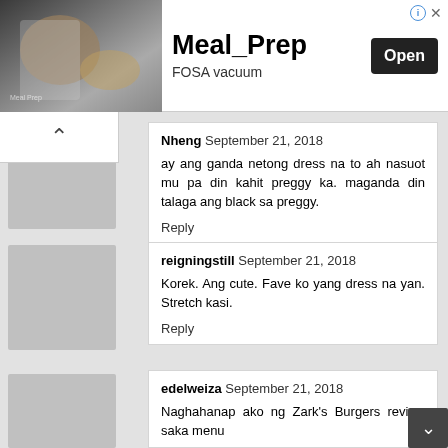[Figure (screenshot): Ad banner for Meal_Prep app by FOSA vacuum, showing a food preparation image on the left, bold app name 'Meal_Prep', subtitle 'FOSA vacuum', and an 'Open' button on the right. Info and close icons in top-right corner.]
Nheng  September 21, 2018
ay ang ganda netong dress na to ah nasuot mu pa din kahit preggy ka. maganda din talaga ang black sa preggy.
Reply
reigningstill  September 21, 2018
Korek. Ang cute. Fave ko yang dress na yan. Stretch kasi.
Reply
edelweiza  September 21, 2018
Naghahanap ako ng Zark's Burgers review saka menu